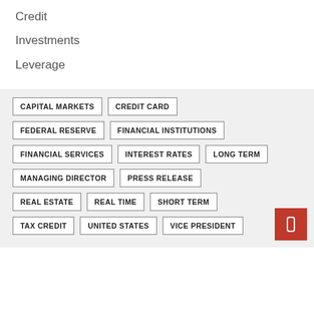Credit
Investments
Leverage
CAPITAL MARKETS | CREDIT CARD | FEDERAL RESERVE | FINANCIAL INSTITUTIONS | FINANCIAL SERVICES | INTEREST RATES | LONG TERM | MANAGING DIRECTOR | PRESS RELEASE | REAL ESTATE | REAL TIME | SHORT TERM | TAX CREDIT | UNITED STATES | VICE PRESIDENT